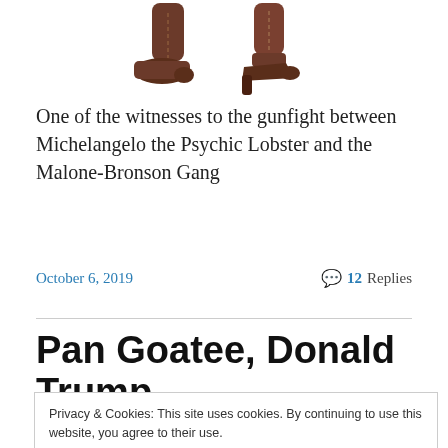[Figure (photo): Two figures shown from waist down wearing brown leather boots with heels on a white background]
One of the witnesses to the gunfight between Michelangelo the Psychic Lobster and the Malone-Bronson Gang
October 6, 2019    💬 12 Replies
Pan Goatee, Donald Trump,
Privacy & Cookies: This site uses cookies. By continuing to use this website, you agree to their use.
To find out more, including how to control cookies, see here: Cookie Policy